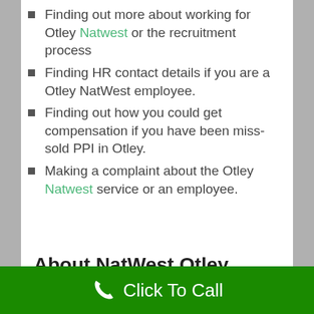Finding out more about working for Otley Natwest or the recruitment process
Finding HR contact details if you are a Otley NatWest employee.
Finding out how you could get compensation if you have been miss-sold PPI in Otley.
Making a complaint about the Otley Natwest service or an employee.
About NatWest Otley
Click To Call